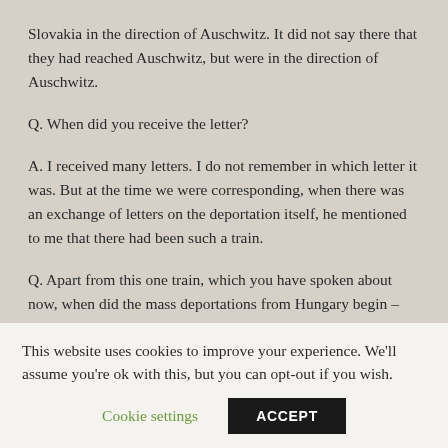Slovakia in the direction of Auschwitz. It did not say there that they had reached Auschwitz, but were in the direction of Auschwitz.
Q. When did you receive the letter?
A. I received many letters. I do not remember in which letter it was. But at the time we were corresponding, when there was an exchange of letters on the deportation itself, he mentioned to me that there had been such a train.
Q. Apart from this one train, which you have spoken about now, when did the mass deportations from Hungary begin –
This website uses cookies to improve your experience. We'll assume you're ok with this, but you can opt-out if you wish.
Cookie settings
ACCEPT